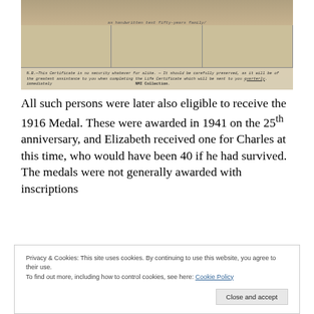[Figure (photo): Photograph of a historical document/certificate with handwritten text at top and a grid table in the middle, with a printed NB note at the bottom and 'NMI Collection' watermark. The note reads: 'N.B.—This Certificate is no security whatever for alike. — It should be carefully preserved, as it will be of the greatest assistance to you when completing the Life Certificate which will be sent to you quarterly. immediately'.]
All such persons were later also eligible to receive the 1916 Medal. These were awarded in 1941 on the 25th anniversary, and Elizabeth received one for Charles at this time, who would have been 40 if he had survived. The medals were not generally awarded with inscriptions
Privacy & Cookies: This site uses cookies. By continuing to use this website, you agree to their use.
To find out more, including how to control cookies, see here: Cookie Policy
Close and accept